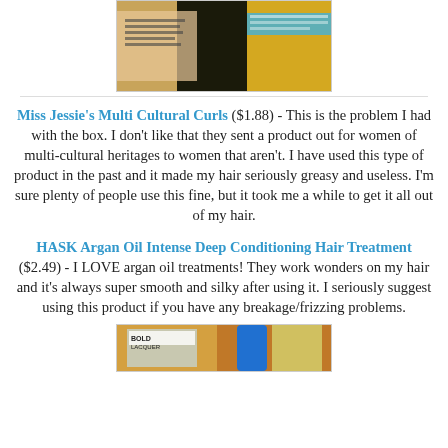[Figure (photo): Photo of hair care product packaging with teal and yellow coloring]
Miss Jessie's Multi Cultural Curls ($1.88) - This is the problem I had with the box. I don't like that they sent a product out for women of multi-cultural heritages to women that aren't. I have used this type of product in the past and it made my hair seriously greasy and useless. I'm sure plenty of people use this fine, but it took me a while to get it all out of my hair.
HASK Argan Oil Intense Deep Conditioning Hair Treatment ($2.49) - I LOVE argan oil treatments! They work wonders on my hair and it's always super smooth and silky after using it. I seriously suggest using this product if you have any breakage/frizzing problems.
[Figure (photo): Photo of hair care product packaging including Bold Lacquer product]